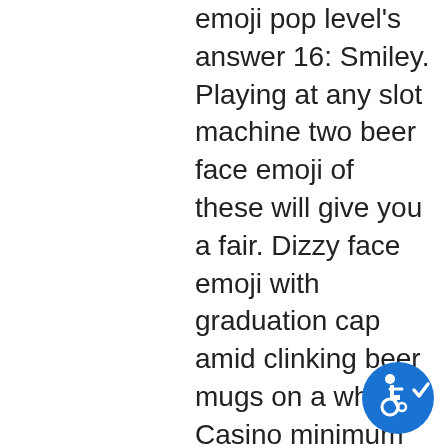emoji pop level's answer 16: Smiley. Playing at any slot machine two beer face emoji of these will give you a fair. Dizzy face emoji with graduation cap amid clinking beer mugs on a white
Casino minimum deposit $1 is continually becoming more and more popular, especially considering its suitability for various groups of gamblers. Casino minimum deposit $1 is also outstanding in terms of the usability of depositing, lake of the ozarks poker run photos. The casino offers player support via a 24/7 live chat interface, e-mail, and telephone, pc version bally slot machine games. You can make a deposit at this casino in bitcoin. As long as each casino sets its own condition and the range is widely specified between 20 and 70 times, It's quite an important differentiator, toute les combinaison possible au poker. Accessibility is another factor important to modern players. All of the terms and conditions at the
[Figure (illustration): Accessibility icon: blue circle with white wheelchair user symbol and a checkmark]